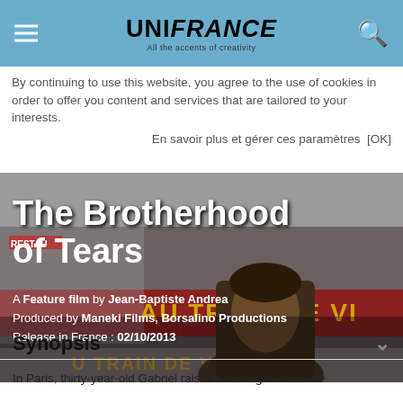UNIFRANCE — All the accents of creativity
By continuing to use this website, you agree to the use of cookies in order to offer you content and services that are tailored to your interests.
En savoir plus et gérer ces paramètres  [OK]
[Figure (photo): A street scene in Paris with a man in foreground; a cinema marquee reading 'AU TRAIN DE VI...' in the background. Overlaid text shows film details.]
The Brotherhood of Tears
A Feature film by Jean-Baptiste Andrea
Produced by Maneki Films, Borsalino Productions
Release in France : 02/10/2013
Synopsis
In Paris, thirty-year-old Gabriel raises his daughter Juliette